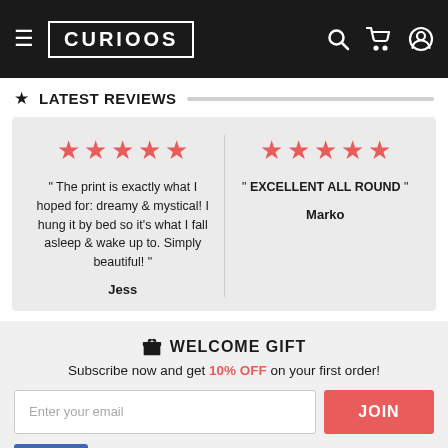CURIOOS - navigation bar with hamburger menu, logo, search, cart, and account icons
★ LATEST REVIEWS
" The print is exactly what I hoped for: dreamy & mystical! I hung it by bed so it's what I fall asleep & wake up to. Simply beautiful! " - Jess
" EXCELLENT ALL ROUND " - Marko
🎁 WELCOME GIFT
Subscribe now and get 10% OFF on your first order!
Enter your email | JOIN
👍 Like  171K people like this. Sign in to see what your friends like.